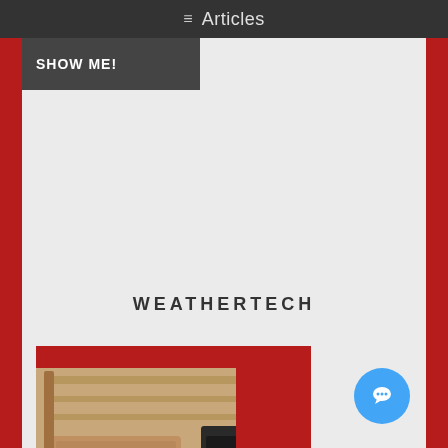≡ Articles
SHOW ME!
WEATHERTECH
[Figure (screenshot): WeatherTech floor mats product photo showing tan and dark floor liners, with a live chat popup overlay showing a man's avatar and the text 'Hi there, how can I help you today?' and a blue chat button in the bottom right corner]